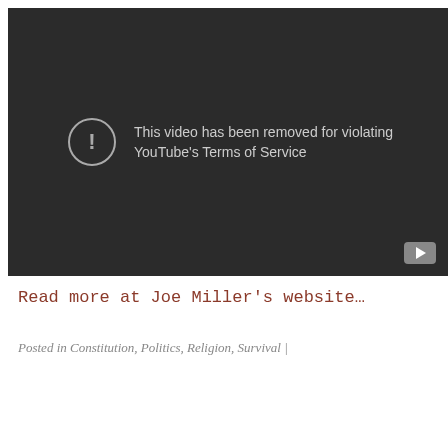[Figure (screenshot): YouTube video removed error screen on dark background. Message: 'This video has been removed for violating YouTube's Terms of Service' with a warning icon circle. YouTube play button icon in bottom-right corner.]
Read more at Joe Miller's website…
Posted in Constitution, Politics, Religion, Survival |